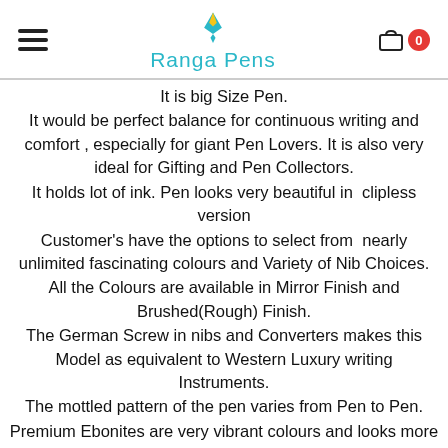Ranga Pens
It is big Size Pen.
It would be perfect balance for continuous writing and comfort , especially for giant Pen Lovers. It is also very ideal for Gifting and Pen Collectors.
It holds lot of ink. Pen looks very beautiful in  clipless version
Customer's have the options to select from  nearly unlimited fascinating colours and Variety of Nib Choices.
All the Colours are available in Mirror Finish and Brushed(Rough) Finish.
The German Screw in nibs and Converters makes this Model as equivalent to Western Luxury writing Instruments.
The mottled pattern of the pen varies from Pen to Pen.
Premium Ebonites are very vibrant colours and looks more beautiful